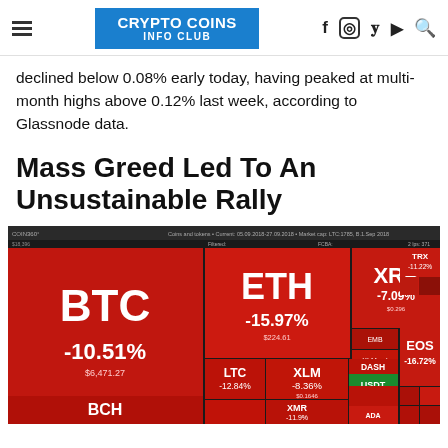CRYPTO COINS INFO CLUB
declined below 0.08% early today, having peaked at multi-month highs above 0.12% last week, according to Glassnode data.
Mass Greed Led To An Unsustainable Rally
[Figure (infographic): COIN360 cryptocurrency market heatmap showing red tiles for major coins: BTC -10.51% ($6,471.27), ETH -15.97% ($224.61), XRP -7.09%, EOS -16.72%, LTC -12.84%, XLM -8.36%, DASH -18.35%, MIOTA -13.22%, USDT 0.00%, BCH -14.69%, XMR, ADA. All tiles predominantly red indicating market-wide losses.]